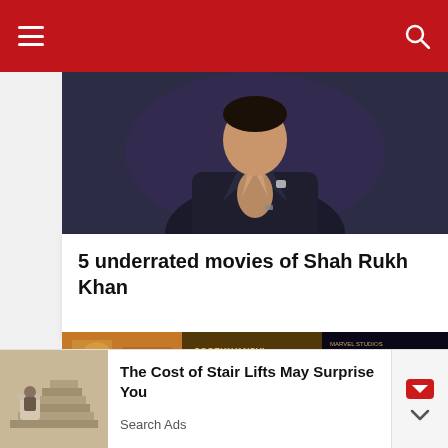Navigation bar with menu and search icons
[Figure (photo): Man in dark suit with hands pressed together in a Namaste gesture, photographed against a dark blue-purple background]
5 underrated movies of Shah Rukh Khan
[Figure (photo): Collage of movie posters in a 3x2 grid including what appears to be Indian films and Marvel's Eternals]
The Cost of Stair Lifts May Surprise You
Search Ads